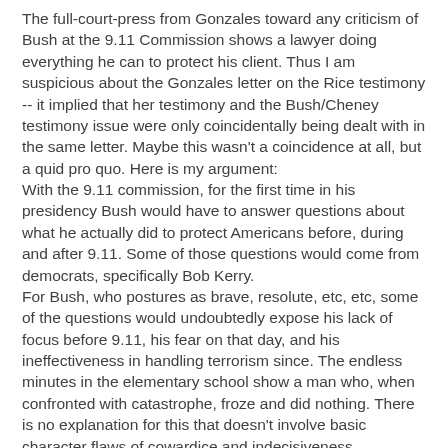The full-court-press from Gonzales toward any criticism of Bush at the 9.11 Commission shows a lawyer doing everything he can to protect his client. Thus I am suspicious about the Gonzales letter on the Rice testimony -- it implied that her testimony and the Bush/Cheney testimony issue were only coincidentally being dealt with in the same letter. Maybe this wasn't a coincidence at all, but a quid pro quo. Here is my argument:
With the 9.11 commission, for the first time in his presidency Bush would have to answer questions about what he actually did to protect Americans before, during and after 9.11. Some of those questions would come from democrats, specifically Bob Kerry.
For Bush, who postures as brave, resolute, etc, etc, some of the questions would undoubtedly expose his lack of focus before 9.11, his fear on that day, and his ineffectiveness in handling terrorism since. The endless minutes in the elementary school show a man who, when confronted with catastrophe, froze and did nothing. There is no explanation for this that doesn't involve basic character flaws of cowardice and indecisiveness.
Hence his initial insistence that he would only speak to the